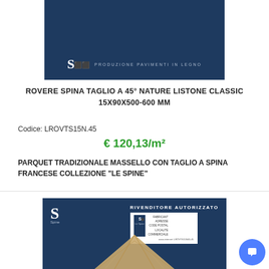[Figure (photo): Dark navy blue product image showing Siena/Simens brand logo with text 'PRODUZIONE PAVIMENTI IN LEGNO' at bottom]
ROVERE SPINA TAGLIO A 45° NATURE LISTONE CLASSIC 15X90X500-600 MM
Codice: LROVTS15N.45
€ 120,13/m²
PARQUET TRADIZIONALE MASSELLO CON TAGLIO A SPINA FRANCESE COLLEZIONE "LE SPINE"
[Figure (photo): Dark navy blue product packaging image showing wood parquet in herringbone pattern with 'RIVENDITORE AUTORIZZATO' certificate and S logo]